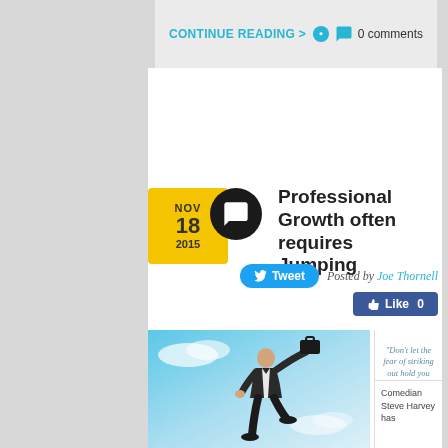CONTINUE READING >   0 comments
Professional Growth often requires Jumping
Tweet   Posted by Joe Thornell   Like 0
[Figure (photo): A businessman in a suit jumping through the air holding a briefcase against a blue sky background]
“Don’t let the fear of striking out hold you back.” Babe Ruth
Comedian Steve Harvey has